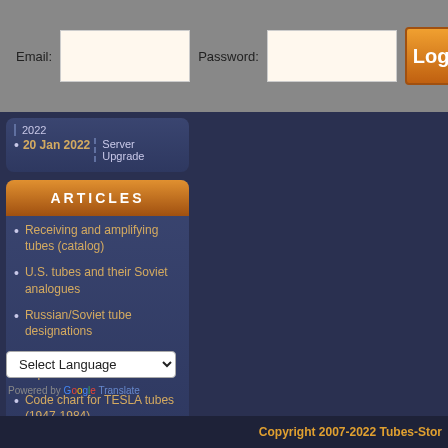Email: [input] Password: [input] Login
20 Jan 2022 | 2022 | Server Upgrade
ARTICLES
Receiving and amplifying tubes (catalog)
U.S. tubes and their Soviet analogues
Russian/Soviet tube designations
Types of some Russian capacitors
Code chart for TESLA tubes (1947-1984)
Select Language
Powered by Google Translate
Copyright 2007-2022 Tubes-Stor